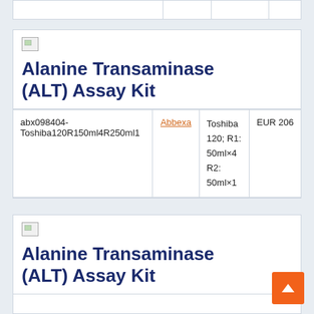|   |   |   |   |
[Figure (other): Broken image icon placeholder for product]
Alanine Transaminase (ALT) Assay Kit
| abx098404-Toshiba120R150ml4R250ml1 | Abbexa | Toshiba 120; R1: 50ml×4 R2: 50ml×1 | EUR 206 |
[Figure (other): Broken image icon placeholder for second product]
Alanine Transaminase (ALT) Assay Kit